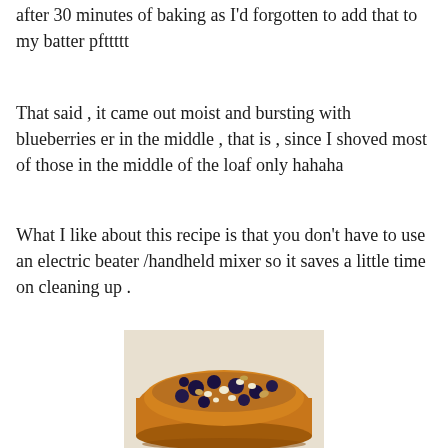after 30 minutes of baking as I'd forgotten to add that to my batter pfttttt
That said , it came out moist and bursting with blueberries er in the middle , that is , since I shoved most of those in the middle of the loaf only hahaha
What I like about this recipe is that you don't have to use an electric beater /handheld mixer so it saves a little time on cleaning up .
[Figure (photo): A baked blueberry loaf/bread with visible blueberries and white chocolate chips on top, sitting on parchment paper, photographed from above at a slight angle.]